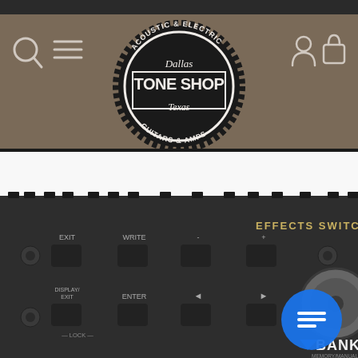[Figure (screenshot): Website header with brown/taupe background showing Dallas Tone Shop logo (Acoustic & Electric Guitars & Amps, Texas), search icon, hamburger menu icon on the left, and user account and shopping bag icons on the right]
[Figure (photo): Close-up photo of an effects switching pedal board device showing buttons labeled EXIT, WRITE, -, +, DISPLAY/EXIT, ENTER, arrow buttons, LOCK, BANK, MEMORY/MANUAL, PRESS & HOLD > 2SEC, and EFFECTS SWITCHING text. A blue chat bubble icon overlays the right side.]